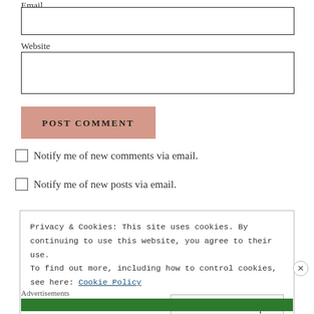Email
Website
POST COMMENT
Notify me of new comments via email.
Notify me of new posts via email.
Privacy & Cookies: This site uses cookies. By continuing to use this website, you agree to their use.
To find out more, including how to control cookies, see here: Cookie Policy
Close and accept
Advertisements